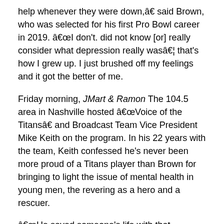help whenever they were down,â€ said Brown, who was selected for his first Pro Bowl career in 2019. â€œI don't. did not know [or] really consider what depression really wasâ€¦ that's how I grew up. I just brushed off my feelings and it got the better of me.
Friday morning, JMart & Ramon The 104.5 area in Nashville hosted â€œVoice of the Titansâ€ and Broadcast Team Vice President Mike Keith on the program. In his 22 years with the team, Keith confessed he's never been more proud of a Titans player than Brown for bringing to light the issue of mental health in young men, the revering as a hero and a rescuer.
â€œHe saved someone's life with that video,â€ Keith said, â€œand with the follow-up comments and being as blunt as him. We all know in our own lives people who go through this; the people who have been through this; people who help family members or friends through this. When someone like AJ Brown says something, I promise you there wasâ€¦ someone out there